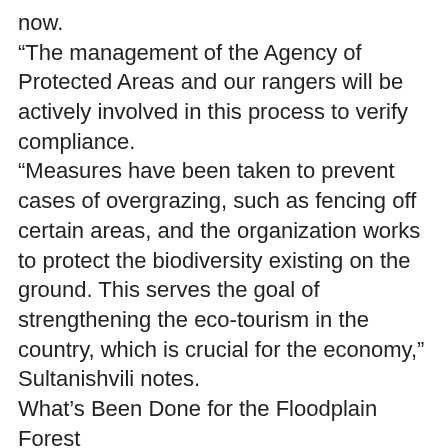now.
“The management of the Agency of Protected Areas and our rangers will be actively involved in this process to verify compliance.
“Measures have been taken to prevent cases of overgrazing, such as fencing off certain areas, and the organization works to protect the biodiversity existing on the ground. This serves the goal of strengthening the eco-tourism in the country, which is crucial for the economy,” Sultanishvili notes.
What’s Been Done for the Floodplain Forest
Natia Zurashvili, Representative of the Administration of Chachuna Reserve: “An important issue was water supply to floodplain plants, as the River Iori is the main source of water on the ground. SABUKO implemented a project that ways the base for the artificially